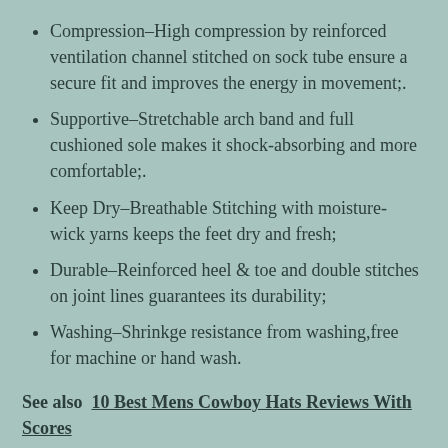Compression–High compression by reinforced ventilation channel stitched on sock tube ensure a secure fit and improves the energy in movement;.
Supportive–Stretchable arch band and full cushioned sole makes it shock-absorbing and more comfortable;.
Keep Dry–Breathable Stitching with moisture-wick yarns keeps the feet dry and fresh;
Durable–Reinforced heel & toe and double stitches on joint lines guarantees its durability;
Washing–Shrinkge resistance from washing,free for machine or hand wash.
See also  10 Best Mens Cowboy Hats Reviews With Scores